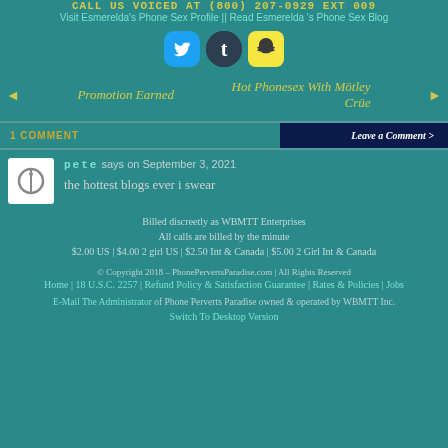Call Us Voiced at (800) 207-0929 Ext 009
Visit Esmerelda's Phone Sex Profile || Read Esmerelda's Phone Sex Blog
[Figure (logo): Social media icons: Twitter (blue bird), Tumblr (dark circle with t), Snapchat (yellow ghost)]
← Promotion Earned    Hot Phonesex With Mötley Crüe →
1 COMMENT    Leave a Comment >
pete says on September 3, 2021
the hottest blogs ever i swear
Billed discreetly as WBMTT Enterprises
All calls are billed by the minute
$2.00 US | $4.00 2 girl US | $2.50 Int & Canada | $5.00 2 Girl Int & Canada
© Copyright 2018 - PhonePervertsParadise.com | All Rights Reserved
Home | 18 U.S.C. 2257 | Refund Policy & Satisfaction Guarantee | Rates & Policies | Jobs
E-Mail The Administrator of Phone Perverts Paradise owned & operated by WBMTT Inc.
Switch To Desktop Version